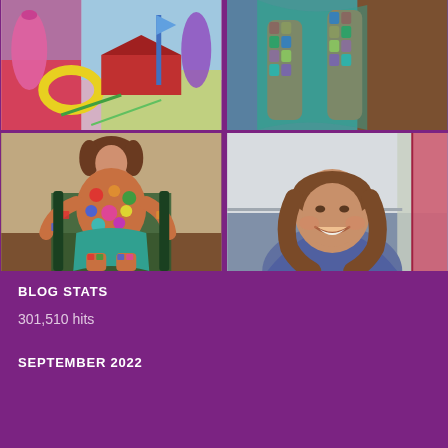[Figure (photo): Top-left: colorful still life painting with pink/purple bottles, yellow ring, red vehicle shape, blue background]
[Figure (photo): Top-right: close-up of colorful mosaic-patterned sculpture legs, teal/blue fabric background]
[Figure (photo): Bottom-left: full ceramic sculpture of seated figure with colorful mosaic pattern, teal skirt, on chair]
[Figure (photo): Bottom-right: smiling woman with shoulder-length brown hair, indoor setting with curtains]
BLOG STATS
301,510 hits
SEPTEMBER 2022